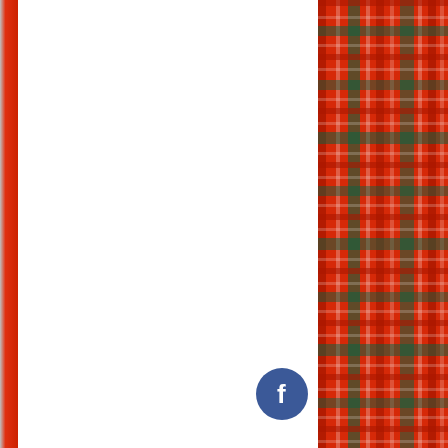JOHN ANDERSON, MY JO
AULD LANG SYNE
The Inquisitive Child – a Remembrance Day poem
Epitaph On Holy Willie
[Figure (illustration): Red tartan plaid pattern on the right side of the page, forming a decorative border]
[Figure (logo): Facebook circular button icon in dark blue with white f letter]